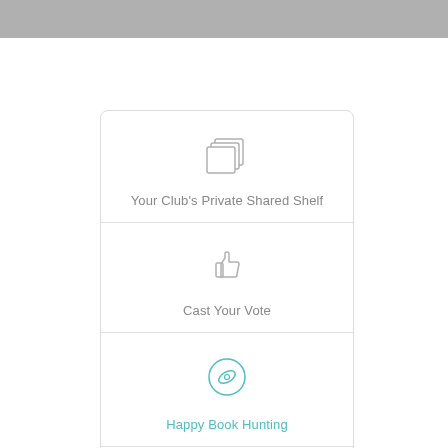[Figure (illustration): Stacked pages/cards icon in light gray outline style]
Your Club's Private Shared Shelf
[Figure (illustration): Thumbs up icon in light gray outline style]
Cast Your Vote
[Figure (illustration): Eye/compass icon inside a teal circle outline]
Happy Book Hunting
[Figure (illustration): Binoculars icon in light gray outline style]
Discover